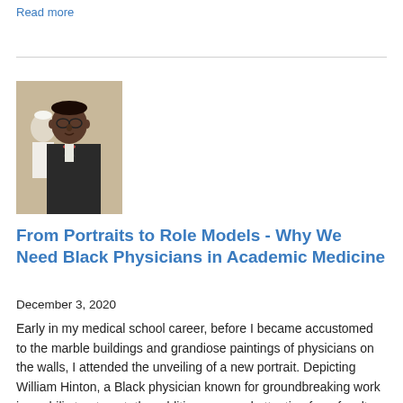Read more
[Figure (photo): Photo of a Black physician in a suit with a bow tie, standing in what appears to be a medical or institutional setting with another person in the background.]
From Portraits to Role Models - Why We Need Black Physicians in Academic Medicine
December 3, 2020
Early in my medical school career, before I became accustomed to the marble buildings and grandiose paintings of physicians on the walls, I attended the unveiling of a new portrait. Depicting William Hinton, a Black physician known for groundbreaking work in syphilis treatment, the addition garnered attention from faculty and students alike. We stood in the large room,